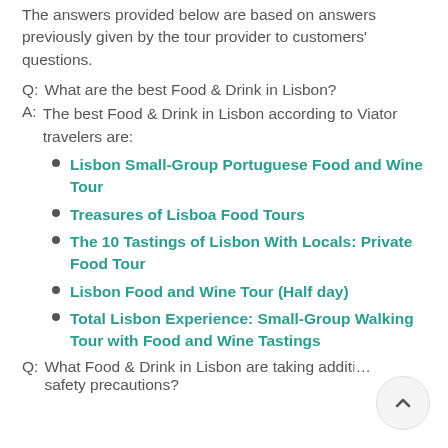The answers provided below are based on answers previously given by the tour provider to customers' questions.
Q:  What are the best Food & Drink in Lisbon?
A:  The best Food & Drink in Lisbon according to Viator travelers are:
Lisbon Small-Group Portuguese Food and Wine Tour
Treasures of Lisboa Food Tours
The 10 Tastings of Lisbon With Locals: Private Food Tour
Lisbon Food and Wine Tour (Half day)
Total Lisbon Experience: Small-Group Walking Tour with Food and Wine Tastings
Q:  What Food & Drink in Lisbon are taking additional safety precautions?